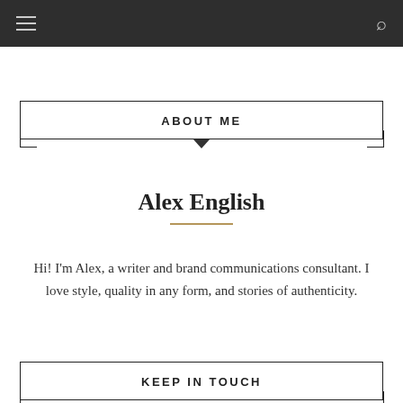navigation bar with hamburger menu and search icon
ABOUT ME
Alex English
Hi! I'm Alex, a writer and brand communications consultant. I love style, quality in any form, and stories of authenticity.
KEEP IN TOUCH